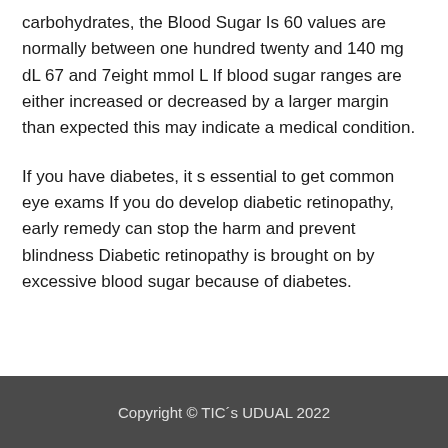carbohydrates, the Blood Sugar Is 60 values are normally between one hundred twenty and 140 mg dL 67 and 7eight mmol L If blood sugar ranges are either increased or decreased by a larger margin than expected this may indicate a medical condition.
If you have diabetes, it s essential to get common eye exams If you do develop diabetic retinopathy, early remedy can stop the harm and prevent blindness Diabetic retinopathy is brought on by excessive blood sugar because of diabetes.
Copyright © TIC´s UDUAL 2022